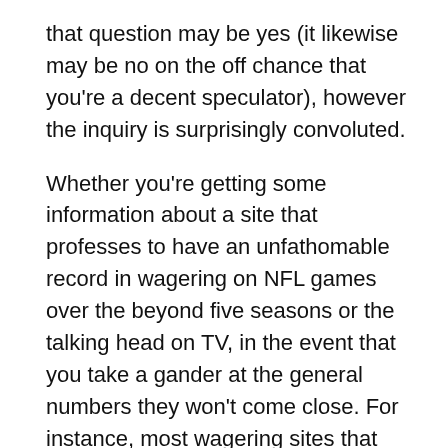that question may be yes (it likewise may be no on the off chance that you're a decent speculator), however the inquiry is surprisingly convoluted.
Whether you're getting some information about a site that professes to have an unfathomable record in wagering on NFL games over the beyond five seasons or the talking head on TV, in the event that you take a gander at the general numbers they won't come close. For instance, most wagering sites that case to have a secure equation are putting together their information with respect to various games you could never wager.
Assuming a site is bragging a triumphant rate 58% throughout the span of the beyond 10 NFL